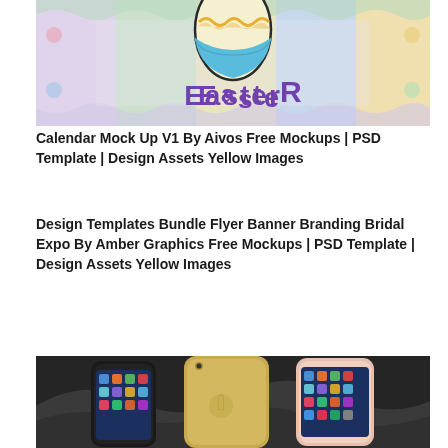[Figure (illustration): Easter-themed calendar mockup image with colorful zigzag/wave pattern background in pastel colors (purple, green, yellow, pink, blue), featuring a decorated Easter egg at the top center and the word 'Easter' in playful purple lettering]
Calendar Mock Up V1 By Aivos Free Mockups | PSD Template | Design Assets Yellow Images
Design Templates Bundle Flyer Banner Branding Bridal Expo By Amber Graphics Free Mockups | PSD Template | Design Assets Yellow Images
[Figure (photo): Three iPhones displayed on a dark wavy background - a black iPhone on the left, a gold/white iPhone in the center (showing Apple logo on back), and a rose gold/white iPhone on the right, all showing colorful app icon home screens]